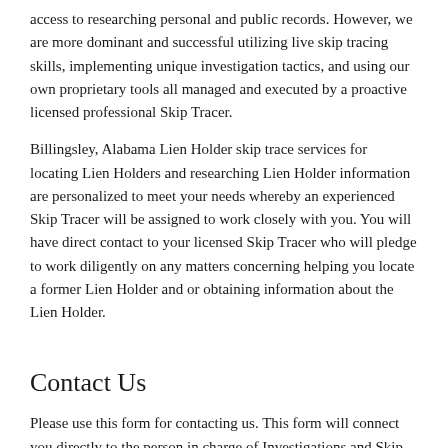access to researching personal and public records. However, we are more dominant and successful utilizing live skip tracing skills, implementing unique investigation tactics, and using our own proprietary tools all managed and executed by a proactive licensed professional Skip Tracer.
Billingsley, Alabama Lien Holder skip trace services for locating Lien Holders and researching Lien Holder information are personalized to meet your needs whereby an experienced Skip Tracer will be assigned to work closely with you. You will have direct contact to your licensed Skip Tracer who will pledge to work diligently on any matters concerning helping you locate a former Lien Holder and or obtaining information about the Lien Holder.
Contact Us
Please use this form for contacting us. This form will connect you directly to the person in charge of Investigations and Skip Tracing Services. It is better you send the form than it is to call. Your form will be treated confidentially, reviewed, and